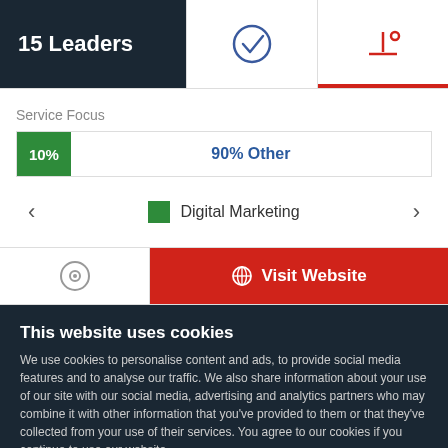15 Leaders
Service Focus
[Figure (stacked-bar-chart): Service Focus]
Digital Marketing
Visit Website
This website uses cookies
We use cookies to personalise content and ads, to provide social media features and to analyse our traffic. We also share information about your use of our site with our social media, advertising and analytics partners who may combine it with other information that you've provided to them or that they've collected from your use of their services. You agree to our cookies if you continue to use our website.
Close
Show details